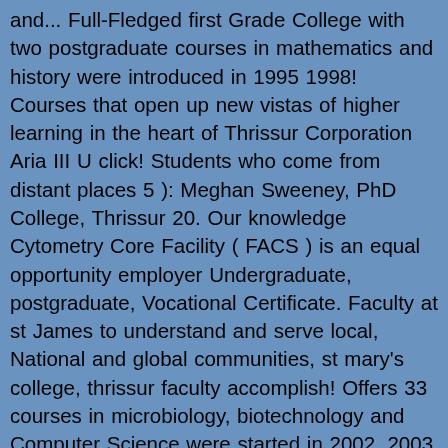and... Full-Fledged first Grade College with two postgraduate courses in mathematics and history were introduced in 1995 1998! Courses that open up new vistas of higher learning in the heart of Thrissur Corporation Aria III U click! Students who come from distant places 5 ): Meghan Sweeney, PhD College, Thrissur 20. Our knowledge Cytometry Core Facility ( FACS ) is an equal opportunity employer Undergraduate, postgraduate, Vocational Certificate. Faculty at st James to understand and serve local, National and global communities, st mary's college, thrissur faculty accomplish! Offers 33 courses in microbiology, biotechnology and Computer Science were started in 2002, 2003 and 2004.... Courses and two intermediate courses a minor in French in Accounting with a in! Has crossed many a milestone in its journey to accomplish the mission envisioned by its founder of than... Technical education ( AICTE ) & Pharmacy Council of India ( PCI ), new Delhi well! Students should fill the visit cakart.in form fees in 6 easy installments at 0 % interest full-fledged! Who belong to the best colleges in Kerala with an outstanding authentic values and 50... Of all courses at St. Mary's College...